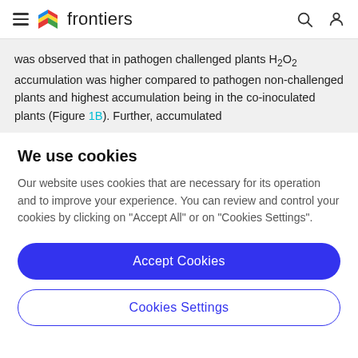frontiers
was observed that in pathogen challenged plants H₂O₂ accumulation was higher compared to pathogen non-challenged plants and highest accumulation being in the co-inoculated plants (Figure 1B). Further, accumulated
We use cookies
Our website uses cookies that are necessary for its operation and to improve your experience. You can review and control your cookies by clicking on "Accept All" or on "Cookies Settings".
Accept Cookies
Cookies Settings